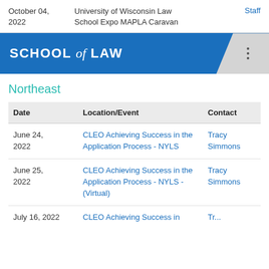October 04, 2022 | University of Wisconsin Law School Expo MAPLA Caravan | Staff
[Figure (logo): University of Wisconsin School of Law logo banner with blue background and white text reading SCHOOL of LAW]
Northeast
| Date | Location/Event | Contact |
| --- | --- | --- |
| June 24, 2022 | CLEO Achieving Success in the Application Process - NYLS | Tracy Simmons |
| June 25, 2022 | CLEO Achieving Success in the Application Process - NYLS - (Virtual) | Tracy Simmons |
| July 16, 2022 | CLEO Achieving Success in... | Tracy... |